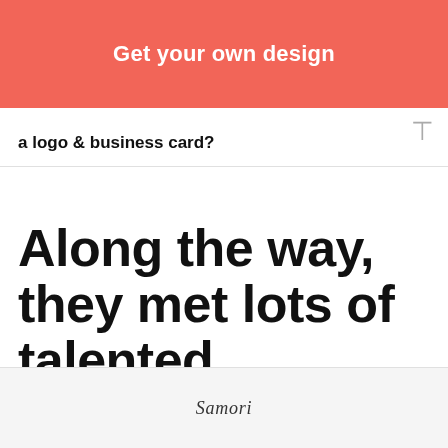[Figure (screenshot): Red/coral button with white bold text reading 'Get your own design']
a logo & business card?
Along the way, they met lots of talented designers...
[Figure (illustration): Bottom image strip showing partial illustration with cursive/script text]